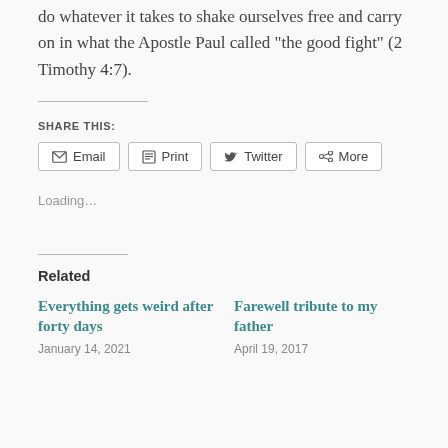do whatever it takes to shake ourselves free and carry on in what the Apostle Paul called “the good fight” (2 Timothy 4:7).
Share this:
Email | Print | Twitter | More
Loading…
Related
Everything gets weird after forty days
January 14, 2021
Farewell tribute to my father
April 19, 2017